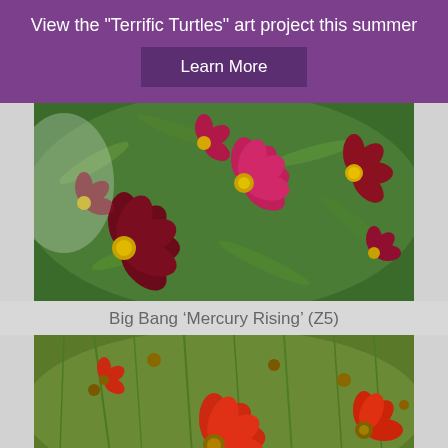View the "Terrific Turtles" art project this summer
Learn More
[Figure (photo): Photo of dark crimson and magenta coreopsis flowers with yellow centers surrounded by green foliage]
Big Bang ‘Mercury Rising’ (Z5)
[Figure (photo): Photo of bright red-orange coreopsis flowers with yellow-green centers and fine green foliage]